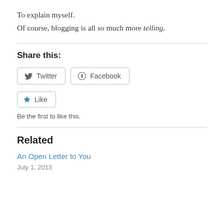To explain myself.
Of course, blogging is all so much more telling.
Share this:
[Figure (other): Social share buttons: Twitter and Facebook]
[Figure (other): Like button with star icon]
Be the first to like this.
Related
An Open Letter to You
July 1, 2013